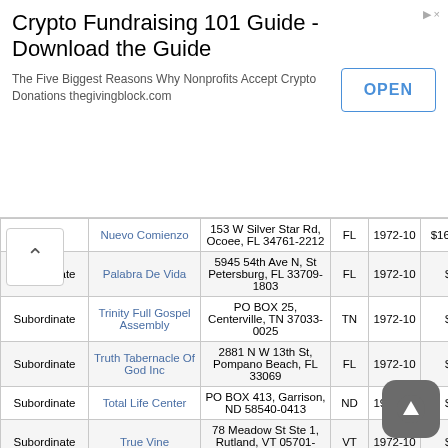[Figure (other): Advertisement banner: Crypto Fundraising 101 Guide - Download the Guide. The Five Biggest Reasons Why Nonprofits Accept Crypto Donations thegivingblock.com. With an OPEN button.]
|  | Name | Address | State | Year | Amount |
| --- | --- | --- | --- | --- | --- |
| Subordinate | Nuevo Comienzo | 153 W Silver Star Rd, Ocoee, FL 34761-2212 | FL | 1972-10 | $16,648 |
| Subordinate | Palabra De Vida | 5945 54th Ave N, St Petersburg, FL 33709-1803 | FL | 1972-10 | $0 |
| Subordinate | Trinity Full Gospel Assembly | PO BOX 25, Centerville, TN 37033-0025 | TN | 1972-10 | $0 |
| Subordinate | Truth Tabernacle Of God Inc | 2881 N W 13th St, Pompano Beach, FL 33069 | FL | 1972-10 | $0 |
| Subordinate | Total Life Center | PO BOX 413, Garrison, ND 58540-0413 | ND | 1972-10 | $0 |
| Subordinate | True Vine | 78 Meadow St Ste 1, Rutland, VT 05701-3951 | VT | 1972-10 | $0 |